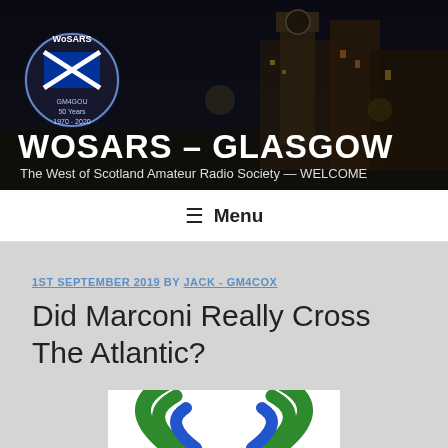[Figure (photo): WoSARS Glasgow website header banner showing a nighttime cityscape of Glasgow with clock tower and street lights, with WoSARS logo in upper left]
WOSARS – GLASGOW
The West of Scotland Amateur Radio Society — WELCOME
≡ Menu
1ST SEPTEMBER 2019 BY JACK - GM4COX
Did Marconi Really Cross The Atlantic?
[Figure (illustration): Partial illustration showing radio wave symbols in green and blue colors, appears to be a WiFi or radio signal icon]